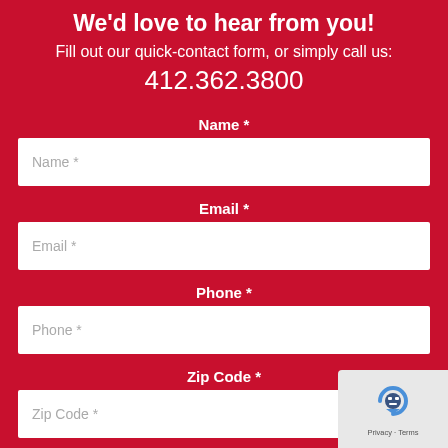We'd love to hear from you!
Fill out our quick-contact form, or simply call us:
412.362.3800
Name *
Email *
Phone *
Zip Code *
[Figure (other): reCAPTCHA widget with blue robot icon and Privacy/Terms links]